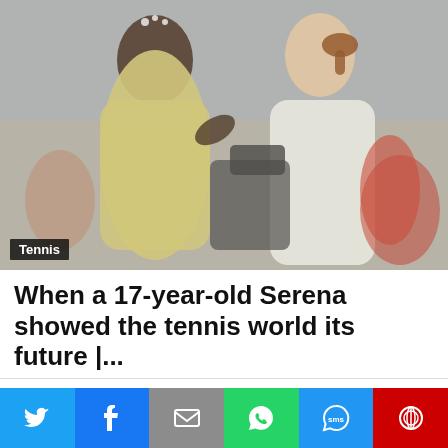[Figure (photo): Two female tennis players embracing and smiling at each other on a tennis court, one in yellow outfit and one in white, with spectators and a camera operator in the background.]
Tennis
When a 17-year-old Serena showed the tennis world its future |...
This website uses cookies to improve your experience. We'll assume you're ok with this, but you can opt-out if you wish.